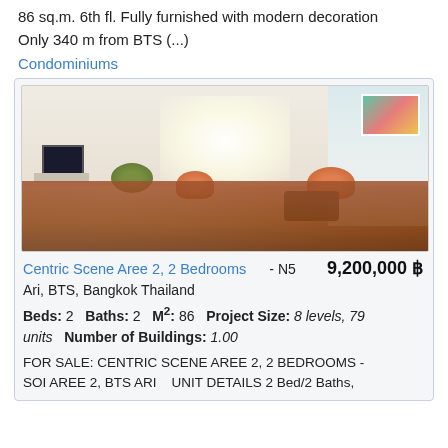86 sq.m. 6th fl. Fully furnished with modern decoration Only 340 m from BTS (...)
Condominiums
[Figure (photo): Interior photo of a furnished condominium living room with orange/red sofas, green pouf, dark coffee table, TV unit, hardwood floors, and large bright window]
Centric Scene Aree 2, 2 Bedrooms - N5   9,200,000 ฿
Ari, BTS, Bangkok Thailand
Beds: 2   Baths: 2   M²: 86   Project Size: 8 levels, 79 units   Number of Buildings: 1.00
FOR SALE: CENTRIC SCENE AREE 2, 2 BEDROOMS - SOI AREE 2, BTS ARI   UNIT DETAILS 2 Bed/2 Baths,